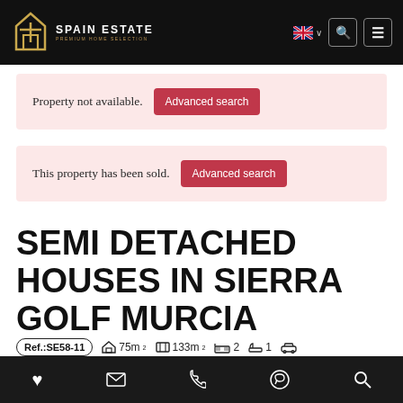Spain Estate — Premium Home Selection
Property not available. Advanced search
This property has been sold. Advanced search
SEMI DETACHED HOUSES IN SIERRA GOLF MURCIA
Ref.:SE58-11  75m²  133m²  2  1
Footer action bar: favourite, email, phone, whatsapp, search